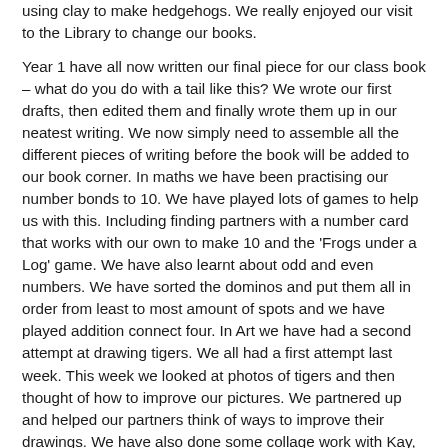using clay to make hedgehogs. We really enjoyed our visit to the Library to change our books.
Year 1 have all now written our final piece for our class book – what do you do with a tail like this? We wrote our first drafts, then edited them and finally wrote them up in our neatest writing. We now simply need to assemble all the different pieces of writing before the book will be added to our book corner. In maths we have been practising our number bonds to 10. We have played lots of games to help us with this. Including finding partners with a number card that works with our own to make 10 and the 'Frogs under a Log' game. We have also learnt about odd and even numbers. We have sorted the dominos and put them all in order from least to most amount of spots and we have played addition connect four. In Art we have had a second attempt at drawing tigers. We all had a first attempt last week. This week we looked at photos of tigers and then thought of how to improve our pictures. We partnered up and helped our partners think of ways to improve their drawings. We have also done some collage work with Kay, collaging animals to go in Noah's Ark.
Lundy Puffins have this week been writing about superheroes. They thought hard about their own unique powers and what they...